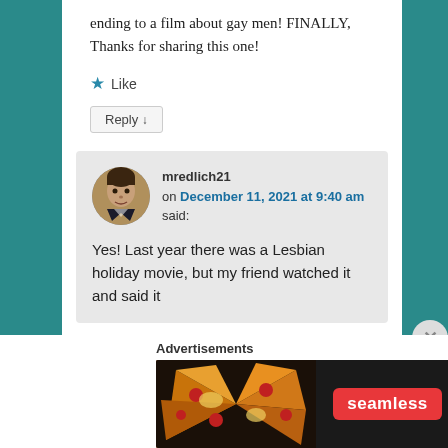ending to a film about gay men! FINALLY, Thanks for sharing this one!
★ Like
Reply ↓
mredlich21 on December 11, 2021 at 9:40 am said:
Yes! Last year there was a Lesbian holiday movie, but my friend watched it and said it
Advertisements
[Figure (other): Seamless food delivery advertisement banner with pizza image, seamless logo, and ORDER NOW button]